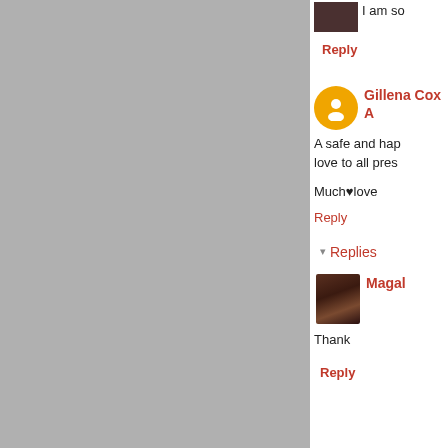I am so
Reply
Gillena Cox A
A safe and hap
love to all pres
Much♥love
Reply
▾ Replies
Magal
Thank
Reply